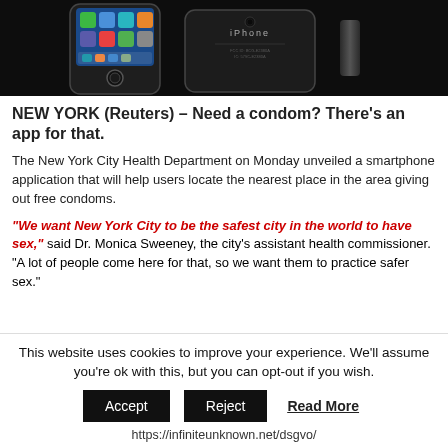[Figure (photo): Two black iPhones photographed against a dark background — one showing the home screen with colorful app icons, and the other showing the back of the device with the Apple iPhone label.]
NEW YORK (Reuters) – Need a condom? There's an app for that.
The New York City Health Department on Monday unveiled a smartphone application that will help users locate the nearest place in the area giving out free condoms.
“We want New York City to be the safest city in the world to have sex,” said Dr. Monica Sweeney, the city's assistant health commissioner. “A lot of people come here for that, so we want them to practice safer sex.”
This website uses cookies to improve your experience. We'll assume you're ok with this, but you can opt-out if you wish.
Accept  Reject  Read More
https://infiniteunknown.net/dsgvo/